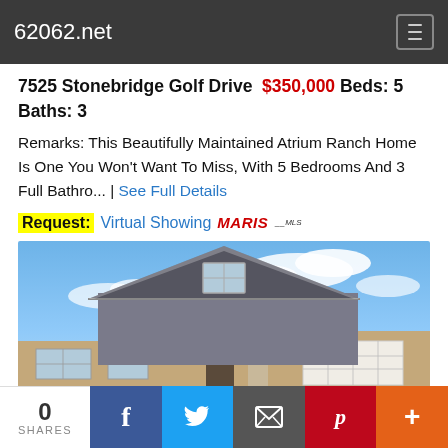62062.net
7525 Stonebridge Golf Drive $350,000 Beds: 5 Baths: 3
Remarks: This Beautifully Maintained Atrium Ranch Home Is One You Won't Want To Miss, With 5 Bedrooms And 3 Full Bathro... | See Full Details
Request: Virtual Showing MARIS
[Figure (photo): Exterior photo of a ranch-style home with gray siding, a peaked roof, white garage door, and blue sky with clouds in the background]
0 SHARES | Facebook | Twitter | Email | Pinterest | More